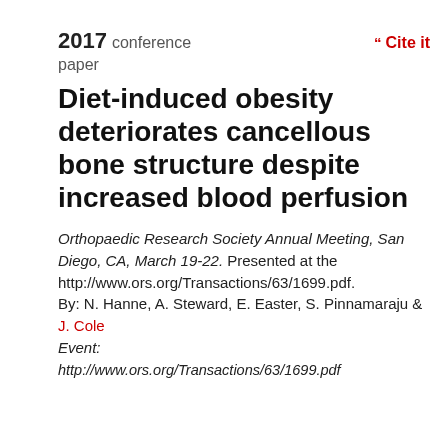2017 conference paper
Diet-induced obesity deteriorates cancellous bone structure despite increased blood perfusion
Orthopaedic Research Society Annual Meeting, San Diego, CA, March 19-22. Presented at the http://www.ors.org/Transactions/63/1699.pdf. By: N. Hanne, A. Steward, E. Easter, S. Pinnamaraju & J. Cole
Event: http://www.ors.org/Transactions/63/1699.pdf